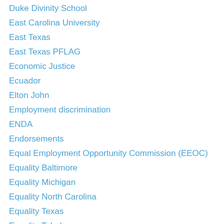Duke Divinity School
East Carolina University
East Texas
East Texas PFLAG
Economic Justice
Ecuador
Elton John
Employment discrimination
ENDA
Endorsements
Equal Employment Opportunity Commission (EEOC)
Equality Baltimore
Equality Michigan
Equality North Carolina
Equality Texas
Equality Toledo
Euro Pride 2011
European Court of Human Rights
Evisceration
Ex-gay conversion camp